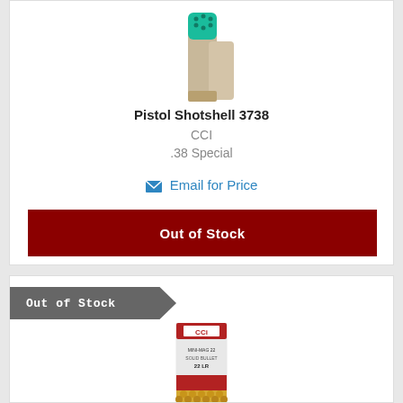[Figure (photo): CCI Pistol Shotshell 3738 product image showing a tan/beige shotshell with teal/blue shot capsule]
Pistol Shotshell 3738
CCI
.38 Special
Email for Price
Out of Stock
Out of Stock
[Figure (photo): CCI Mini-Mag 22 LR ammunition box showing a tall rectangular package with bullets displayed at the bottom]